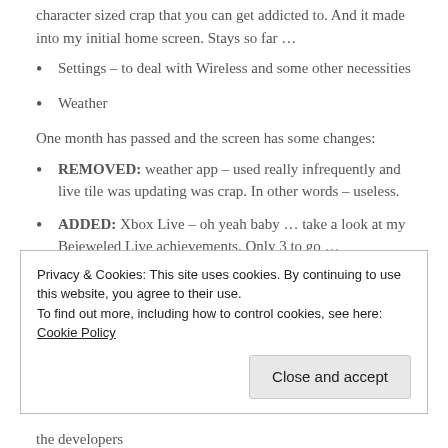character sized crap that you can get addicted to. And it made into my initial home screen. Stays so far …
Settings – to deal with Wireless and some other necessities
Weather
One month has passed and the screen has some changes:
REMOVED: weather app – used really infrequently and live tile was updating was crap. In other words – useless.
ADDED: Xbox Live – oh yeah baby … take a look at my Bejeweled Live achievements. Only 3 to go …
ADDED: Outlook – corporate is corporate. Interestingly, phone
Privacy & Cookies: This site uses cookies. By continuing to use this website, you agree to their use.
To find out more, including how to control cookies, see here: Cookie Policy
Close and accept
the developers